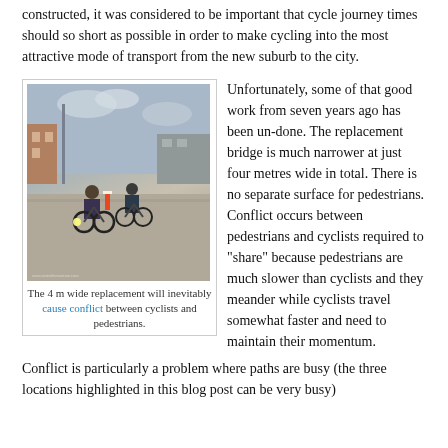constructed, it was considered to be important that cycle journey times should so short as possible in order to make cycling into the most attractive mode of transport from the new suburb to the city.
[Figure (photo): Two cyclists riding on a wide paved path in an urban area, with buildings and infrastructure visible in the background.]
The 4 m wide replacement will inevitably cause conflict between cyclists and pedestrians.
Unfortunately, some of that good work from seven years ago has been un-done. The replacement bridge is much narrower at just four metres wide in total. There is no separate surface for pedestrians. Conflict occurs between pedestrians and cyclists required to "share" because pedestrians are much slower than cyclists and they meander while cyclists travel somewhat faster and need to maintain their momentum.
Conflict is particularly a problem where paths are busy (the three locations highlighted in this blog post can be very busy)